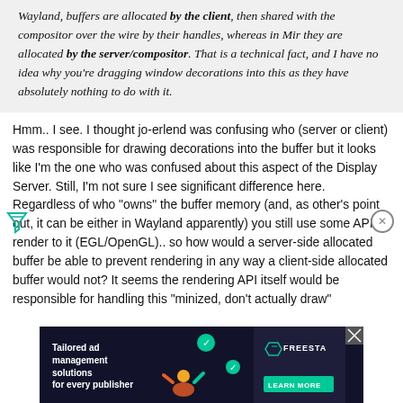Wayland, buffers are allocated by the client, then shared with the compositor over the wire by their handles, whereas in Mir they are allocated by the server/compositor. That is a technical fact, and I have no idea why you're dragging window decorations into this as they have absolutely nothing to do with it.
Hmm.. I see. I thought jo-erlend was confusing who (server or client) was responsible for drawing decorations into the buffer but it looks like I'm the one who was confused about this aspect of the Display Server. Still, I'm not sure I see significant difference here. Regardless of who "owns" the buffer memory (and, as other's point out, it can be either in Wayland apparently) you still use some API to render to it (EGL/OpenGL).. so how would a server-side allocated buffer be able to prevent rendering in any way a client-side allocated buffer would not? It seems the rendering API itself would be responsible for handling this "minized, don't actually draw"
[Figure (infographic): Advertisement banner: 'Tailored ad management solutions for every publisher' with Freesta branding and 'LEARN MORE' button on dark background]